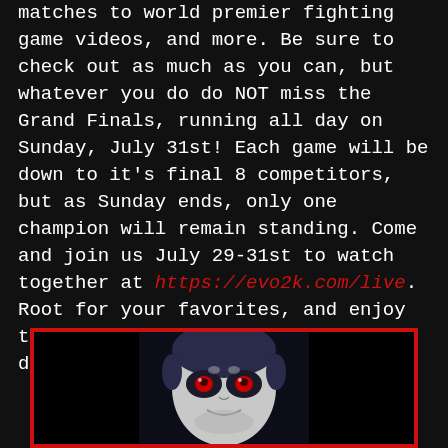matches to world premier fighting game videos, and more. Be sure to check out as much as you can, but whatever you do do NOT miss the Grand Finals, running all day on Sunday, July 31st! Each game will be down to it's final 8 competitors, but as Sunday ends, only one champion will remain standing. Come and join us July 29-31st to watch together at https://evo2k.com/live. Root for your favorites, and enjoy the incredible skills and heart on display!
[Figure (illustration): A dark illustration showing an anime/video game character face with stylized features, inside a red-bordered box]